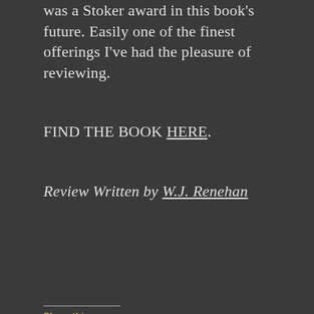was a Stoker award in this book's future. Easily one of the finest offerings I've had the pleasure of reviewing.
FIND THE BOOK HERE.
Review Written by W.J. Renehan
Share this:
[Figure (other): Tweet button (blue rounded) and Save button (red rounded square) for social sharing]
Loading...